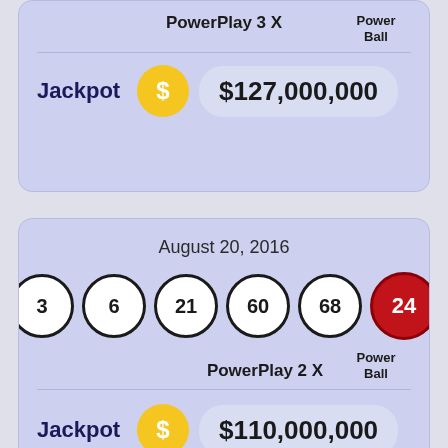[Figure (infographic): Top partial lottery card showing PowerPlay 3X, Power Ball label, divider, and Jackpot $127,000,000]
[Figure (infographic): Bottom lottery card showing August 20, 2016 draw: balls 3, 6, 21, 60, 68 and PowerBall 24, PowerPlay 2X, Jackpot $110,000,000. Close button visible.]
[Figure (infographic): Disney Bundle advertisement banner: hulu, Disney+, ESPN+ logos with GET THE DISNEY BUNDLE CTA and fine print about 2021 Disney.]